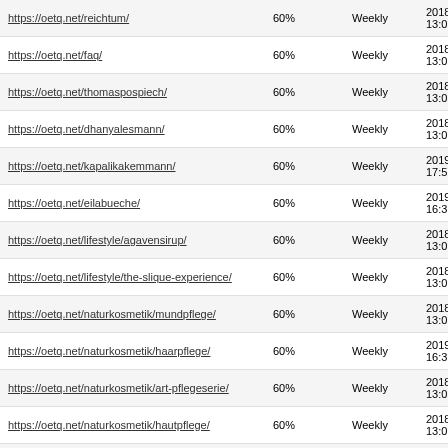| https://oetq.net/reichtum/ | 60% | Weekly | 2018-12-23 13:06 |
| https://oetq.net/faq/ | 60% | Weekly | 2018-12-23 13:06 |
| https://oetq.net/thomaspospiech/ | 60% | Weekly | 2018-12-23 13:06 |
| https://oetq.net/dhanyalesmann/ | 60% | Weekly | 2018-12-23 13:06 |
| https://oetq.net/kapalikakemmann/ | 60% | Weekly | 2019-02-13 17:53 |
| https://oetq.net/eilabueche/ | 60% | Weekly | 2019-02-21 16:37 |
| https://oetq.net/lifestyle/agavensirup/ | 60% | Weekly | 2018-12-23 13:06 |
| https://oetq.net/lifestyle/the-slique-experience/ | 60% | Weekly | 2018-12-23 13:06 |
| https://oetq.net/naturkosmetik/mundpflege/ | 60% | Weekly | 2018-12-23 13:06 |
| https://oetq.net/naturkosmetik/haarpflege/ | 60% | Weekly | 2019-06-26 16:31 |
| https://oetq.net/naturkosmetik/art-pflegeserie/ | 60% | Weekly | 2018-12-23 13:06 |
| https://oetq.net/naturkosmetik/hautpflege/ | 60% | Weekly | 2018-12-23 13:06 |
| https://oetq.net/naturkosmetik/gesichtscreme/ | 60% | Weekly | 2018-12-23 13:06 |